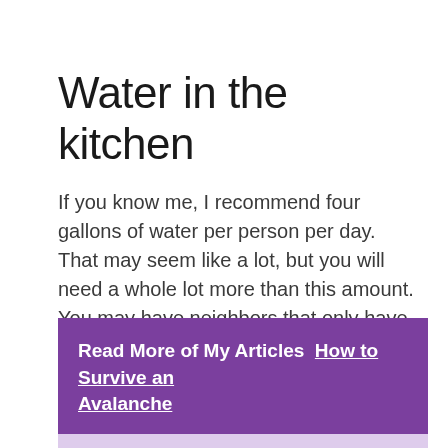Water in the kitchen
If you know me, I recommend four gallons of water per person per day. That may seem like a lot, but you will need a whole lot more than this amount. You may have neighbors that only have the contaminated water from their kitchen faucet if the water lines even work.
Read More of My Articles  How to Survive an Avalanche